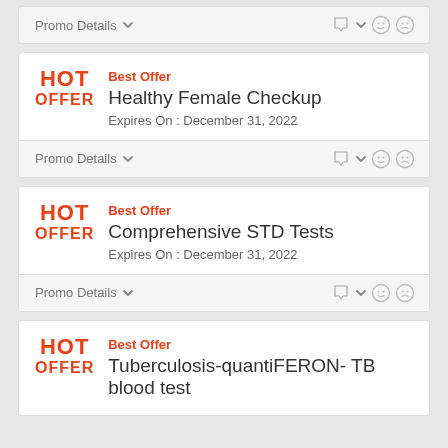Promo Details
Best Offer
Healthy Female Checkup
Expires On : December 31, 2022
Promo Details
Best Offer
Comprehensive STD Tests
Expires On : December 31, 2022
Promo Details
Best Offer
Tuberculosis-quantiFERON- TB blood test